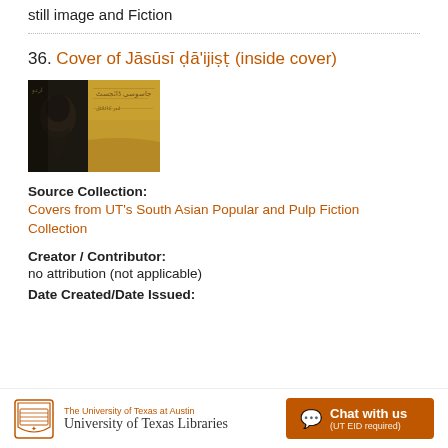still image and Fiction
36. Cover of Jāsūsī ḍā'ijiṣṭ (inside cover)
[Figure (photo): Book cover image of Jāsūsī ḍā'ijiṣṭ, showing a stylized portrait on the left side and aged golden-brown paper texture on the right side with handwritten text]
Source Collection:
Covers from UT's South Asian Popular and Pulp Fiction Collection
Creator / Contributor:
no attribution (not applicable)
Date Created/Date Issued:
The University of Texas at Austin University of Texas Libraries  Chat with us (UT EID required)